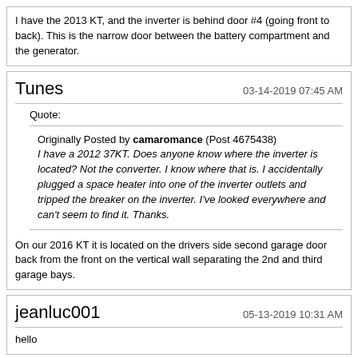I have the 2013 KT, and the inverter is behind door #4 (going front to back). This is the narrow door between the battery compartment and the generator.
Tunes
03-14-2019 07:45 AM
Quote:
Originally Posted by camaromance (Post 4675438)
I have a 2012 37KT. Does anyone know where the inverter is located? Not the converter. I know where that is. I accidentally plugged a space heater into one of the inverter outlets and tripped the breaker on the inverter. I've looked everywhere and can't seem to find it. Thanks.
On our 2016 KT it is located on the drivers side second garage door back from the front on the vertical wall separating the 2nd and third garage bays.
jeanluc001
05-13-2019 10:31 AM
hello